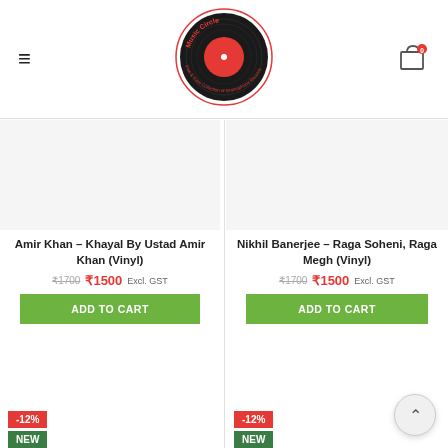[Figure (logo): Music Circle logo — vinyl record with red label, red circular text reading 'Music Circle Fine & Rare Collection of Gramophone Records']
Amir Khan – Khayal By Ustad Amir Khan (Vinyl)
₹1700  ₹1500 Excl. GST
ADD TO CART
Nikhil Banerjee – Raga Soheni, Raga Megh (Vinyl)
₹1700  ₹1500 Excl. GST
ADD TO CART
-12%
NEW
-12%
NEW